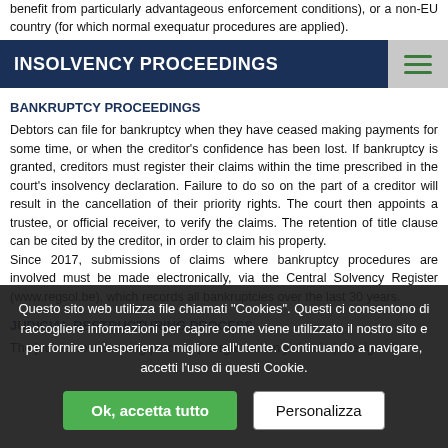benefit from particularly advantageous enforcement conditions), or a non-EU country (for which normal exequatur procedures are applied).
INSOLVENCY PROCEEDINGS
BANKRUPTCY PROCEEDINGS
Debtors can file for bankruptcy when they have ceased making payments for some time, or when the creditor's confidence has been lost. If bankruptcy is granted, creditors must register their claims within the time prescribed in the court's insolvency declaration. Failure to do so on the part of a creditor will result in the cancellation of their priority rights. The court then appoints a trustee, or official receiver, to verify the claims. The retention of title clause can be cited by the creditor, in order to claim his property.
Since 2017, submissions of claims where bankruptcy procedures are involved must be made electronically, via the Central Solvency Register (www.regsol.be), which records all bankruptcies over the last 30 years.
JUDICIAL RESTRUCTURING PROCESS
The judicial restructuring process (reorganisation judiciaire), designed
Questo sito web utilizza file chiamati "Cookies". Questi ci consentono di raccogliere informazioni per capire come viene utilizzato il nostro sito e per fornire un'esperienza migliore all'utente. Continuando a navigare, accetti l'uso di questi Cookie.